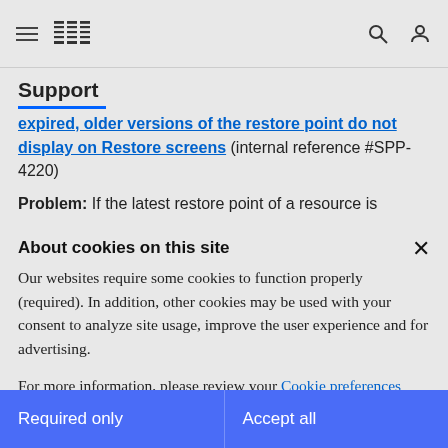IBM Support
expired, older versions of the restore point do not display on Restore screens (internal reference #SPP-4220)
Problem: If the latest restore point of a resource is
About cookies on this site
Our websites require some cookies to function properly (required). In addition, other cookies may be used with your consent to analyze site usage, improve the user experience and for advertising.
For more information, please review your Cookie preferences options and IBM's privacy statement.
Required only
Accept all